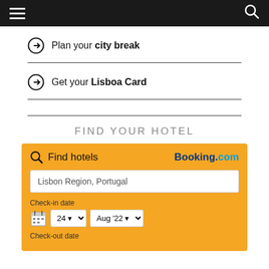Navigation bar with hamburger menu and search icon
Plan your city break
Get your Lisboa Card
FIND YOUR HOTEL
[Figure (screenshot): Booking.com hotel search widget with location field 'Lisbon Region, Portugal', check-in date selector showing 24 Aug '22, and check-out date label]
Find hotels  Booking.com  Lisbon Region, Portugal  Check-in date 24 Aug '22  Check-out date